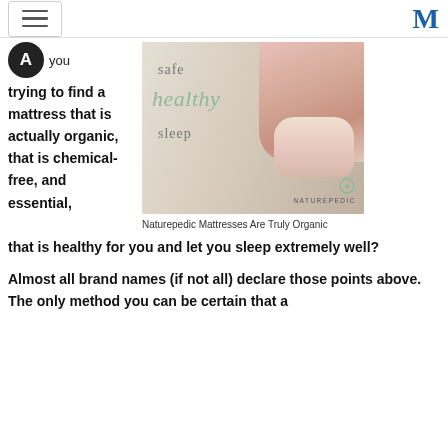[ hamburger menu ] M
A you trying to find a mattress that is actually organic, that is chemical-free, and essential,
[Figure (photo): Naturepedic advertisement showing a baby lying on a mattress with text 'safe healthy sleep' and NATUREPEDIC logo]
Naturepedic Mattresses Are Truly Organic
that is healthy for you and let you sleep extremely well?
Almost all brand names (if not all) declare those points above. The only method you can be certain that a